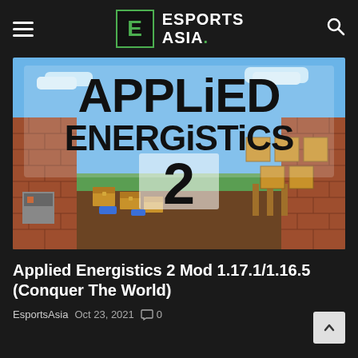ESPORTS ASIA.
[Figure (screenshot): Applied Energistics 2 Minecraft mod promotional image showing the text 'APPLiED ENERGiSTiCS 2' on a Minecraft world background with brick walls and wooden chests on grass.]
Applied Energistics 2 Mod 1.17.1/1.16.5 (Conquer The World)
EsportsAsia  Oct 23, 2021  0